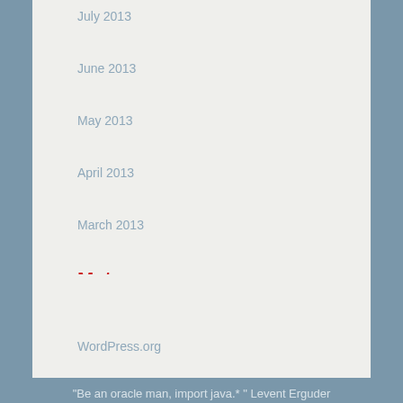July 2013
June 2013
May 2013
April 2013
March 2013
Meta
Log in
Entries feed
Comments feed
WordPress.org
"Be an oracle man, import java.* " Levent Erguder